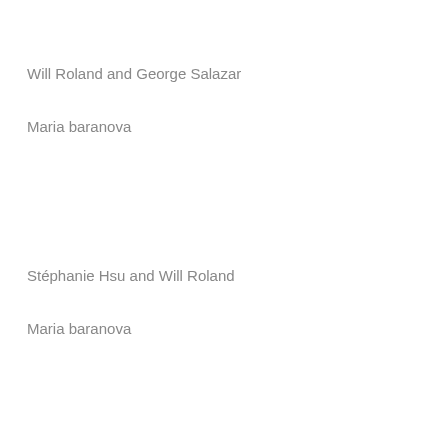Will Roland and George Salazar
Maria baranova
Stéphanie Hsu and Will Roland
Maria baranova